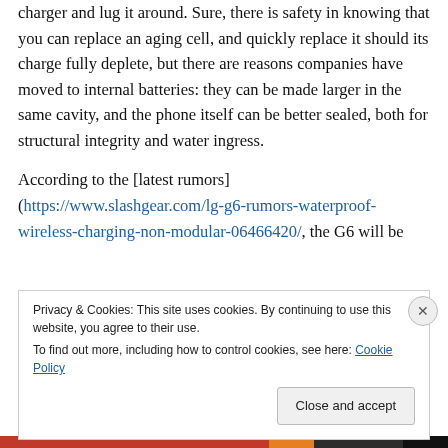charger and lug it around. Sure, there is safety in knowing that you can replace an aging cell, and quickly replace it should its charge fully deplete, but there are reasons companies have moved to internal batteries: they can be made larger in the same cavity, and the phone itself can be better sealed, both for structural integrity and water ingress.
According to the [latest rumors] (https://www.slashgear.com/lg-g6-rumors-waterproof-wireless-charging-non-modular-06466420/, the G6 will be
Privacy & Cookies: This site uses cookies. By continuing to use this website, you agree to their use. To find out more, including how to control cookies, see here: Cookie Policy
Close and accept